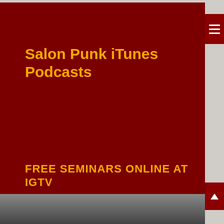Salon Punk iTunes Podcasts
FREE SEMINARS ONLINE AT IGTV
[Figure (photo): Partial bottom image showing a person, cropped at the bottom of the page]